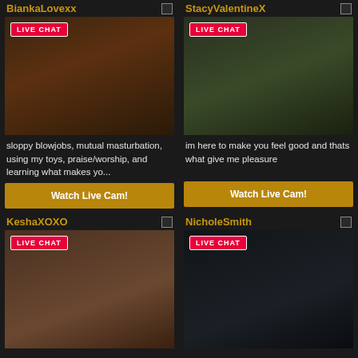BiankaLovexx
[Figure (photo): Live cam thumbnail of BiankaLovexx with LIVE CHAT badge]
sloppy blowjobs, mutual masturbation, using my toys, praise/worship, and learning what makes yo...
Watch Live Cam!
StacyValentineX
[Figure (photo): Live cam thumbnail of StacyValentineX with LIVE CHAT badge]
im here to make you feel good and thats what give me pleasure
Watch Live Cam!
KeshaXOXO
[Figure (photo): Live cam thumbnail of KeshaXOXO with LIVE CHAT badge]
NicholeSmith
[Figure (photo): Live cam thumbnail of NicholeSmith with LIVE CHAT badge]